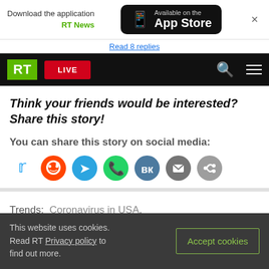Download the application RT News — Available on the App Store
Read 8 replies
RT LIVE
Think your friends would be interested? Share this story!
You can share this story on social media:
[Figure (infographic): Social media sharing icons: Twitter, Reddit, Telegram, WhatsApp, VK, Email, Link]
Trends:  Coronavirus in USA,  Coronavirus vaccines,  Covid-19 coronavirus
This website uses cookies. Read RT Privacy policy to find out more. Accept cookies